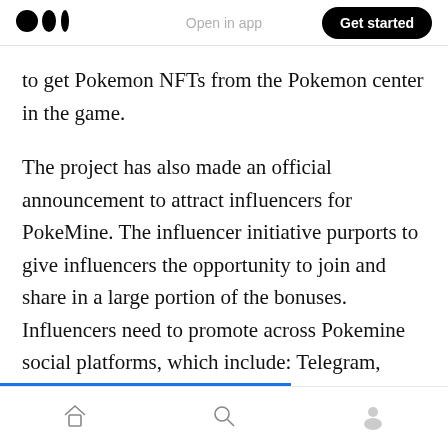Medium app header with logo, 'Open in app' link, and 'Get started' button
to get Pokemon NFTs from the Pokemon center in the game.
The project has also made an official announcement to attract influencers for PokeMine. The influencer initiative purports to give influencers the opportunity to join and share in a large portion of the bonuses. Influencers need to promote across Pokemine social platforms, which include: Telegram, Discord and Twitter.
Bottom navigation bar with home, search, and profile icons